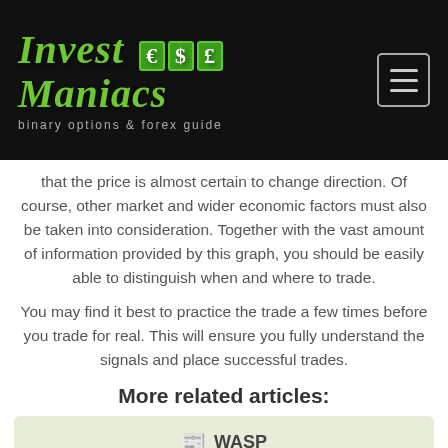Invest €$£ Maniacs – binary options & forex guide
that the price is almost certain to change direction. Of course, other market and wider economic factors must also be taken into consideration. Together with the vast amount of information provided by this graph, you should be easily able to distinguish when and where to trade.
You may find it best to practice the trade a few times before you trade for real. This will ensure you fully understand the signals and place successful trades.
More related articles:
📰 WASP
5 minute binary options trading is a kind of trading that is related to scalping as an expiration time is very short yet with many entry points and high profits.InvestManiacs advise you to use only...